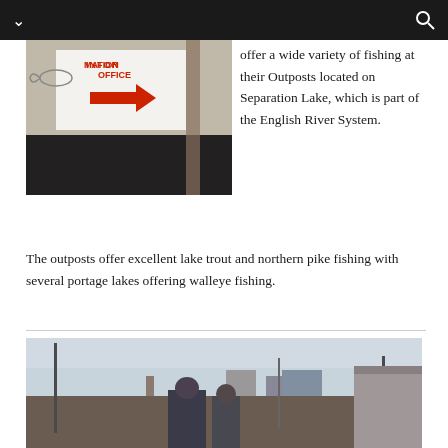[Figure (photo): Navigation bar with dark background, chevron icon on left and search icon on right]
[Figure (photo): Photo of an information office sign with a red arrow and fish drawing, mounted on a wooden structure]
offer a wide variety of fishing at their Outposts located on Separation Lake, which is part of the English River System. The outposts offer excellent lake trout and northern pike fishing with several portage lakes offering walleye fishing.
[Figure (photo): Outdoor scene with people near water, fishing poles, buildings in background, overcast sky]